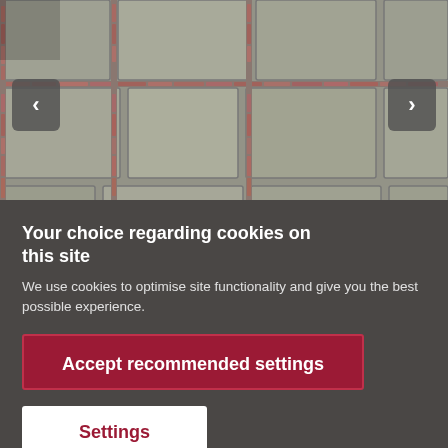[Figure (photo): A paving/tile pattern photo showing large stone-like slabs with smaller brick-like elements in between, in muted grey-green and reddish tones. Navigation arrows (left and right) appear on either side of the image carousel.]
Your choice regarding cookies on this site
We use cookies to optimise site functionality and give you the best possible experience.
Accept recommended settings
Settings